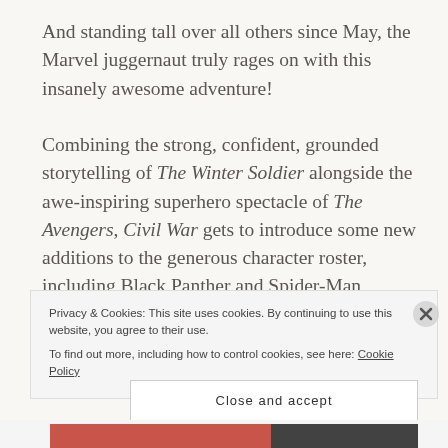And standing tall over all others since May, the Marvel juggernaut truly rages on with this insanely awesome adventure!

Combining the strong, confident, grounded storytelling of The Winter Soldier alongside the awe-inspiring superhero spectacle of The Avengers, Civil War gets to introduce some new additions to the generous character roster, including Black Panther and Spider-Man,
Privacy & Cookies: This site uses cookies. By continuing to use this website, you agree to their use.
To find out more, including how to control cookies, see here: Cookie Policy
Close and accept